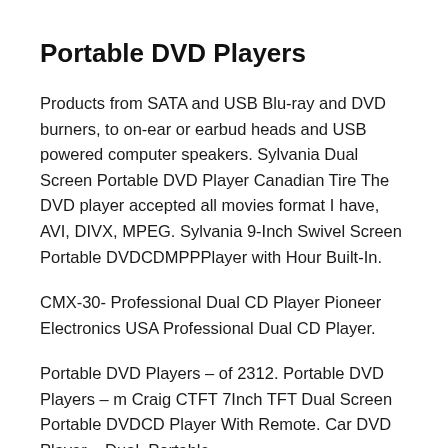Portable DVD Players
Products from SATA and USB Blu-ray and DVD burners, to on-ear or earbud heads and USB powered computer speakers. Sylvania Dual Screen Portable DVD Player Canadian Tire The DVD player accepted all movies format I have, AVI, DIVX, MPEG. Sylvania 9-Inch Swivel Screen Portable DVDCDMPPPlayer with Hour Built-In.
CMX-30- Professional Dual CD Player Pioneer Electronics USA Professional Dual CD Player.
Portable DVD Players – of 2312. Portable DVD Players – m Craig CTFT 7Inch TFT Dual Screen Portable DVDCD Player With Remote. Car DVD Player – Dual, Portable, Headrest Overhead, Rear Double Detached Car Ste...